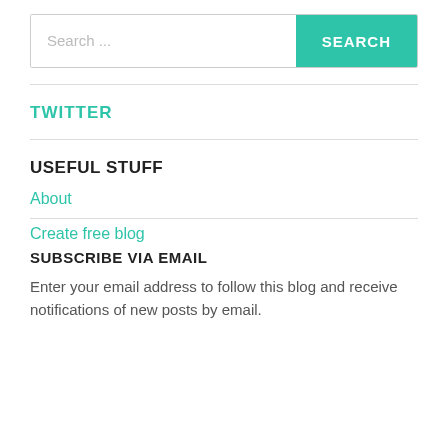[Figure (screenshot): Search bar with text input showing placeholder 'Search ...' and a teal SEARCH button on the right]
TWITTER
USEFUL STUFF
About
Create free blog
SUBSCRIBE VIA EMAIL
Enter your email address to follow this blog and receive notifications of new posts by email.